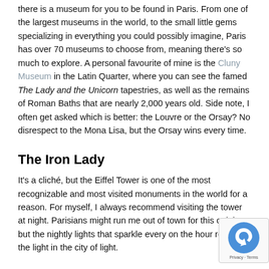there is a museum for you to be found in Paris. From one of the largest museums in the world, to the small little gems specializing in everything you could possibly imagine, Paris has over 70 museums to choose from, meaning there's so much to explore. A personal favourite of mine is the Cluny Museum in the Latin Quarter, where you can see the famed The Lady and the Unicorn tapestries, as well as the remains of Roman Baths that are nearly 2,000 years old. Side note, I often get asked which is better: the Louvre or the Orsay? No disrespect to the Mona Lisa, but the Orsay wins every time.
The Iron Lady
It's a cliché, but the Eiffel Tower is one of the most recognizable and most visited monuments in the world for a reason. For myself, I always recommend visiting the tower at night. Parisians might run me out of town for this opinion, but the nightly lights that sparkle every on the hour really put the light in the city of light.
[Figure (other): Google reCAPTCHA badge with recycling-style arrow icon and Privacy · Terms text]